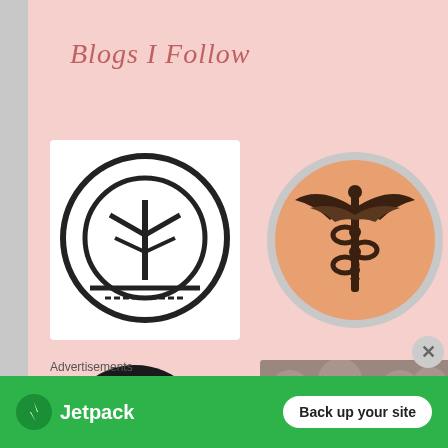Blogs I Follow
[Figure (logo): Black and white tree-in-circle minimalist logo on white square background]
[Figure (logo): Caduceus medical symbol on orange/peach background inside a round silver-framed badge]
[Figure (logo): Stylized W monogram in white on black circle background]
[Figure (illustration): Blog card with tufted upholstery background and Portuguese text: Direito da Mulher, Atualidade, Autoajuda, Citações, Literatura, Música]
Advertisements
[Figure (logo): Jetpack plugin advertisement banner with lightning bolt icon and 'Back up your site' button on green background]